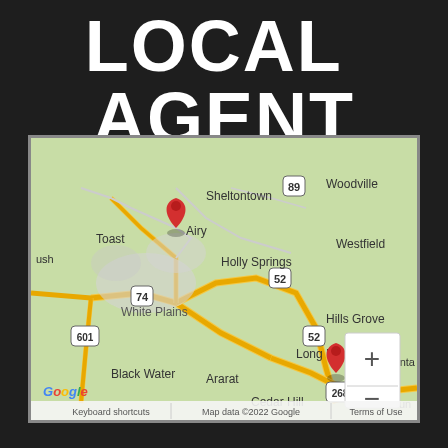LOCAL  AGENT
[Figure (map): Google Map screenshot showing area around Mount Airy, NC with two red location pins. Map shows towns including Toast, Mount Airy, Sheltontown, Woodville, Holly Springs, Westfield, White Plains, Long Hill, Hills Grove, Ararat, Black Water, Cedar Hill, Pilot Mountain. Roads including highways 74, 52, 89, 601, 268 are visible. Map has zoom controls (+/-) and Google branding at bottom left with 'Keyboard shortcuts', 'Map data ©2022 Google', 'Terms of Use' at bottom.]